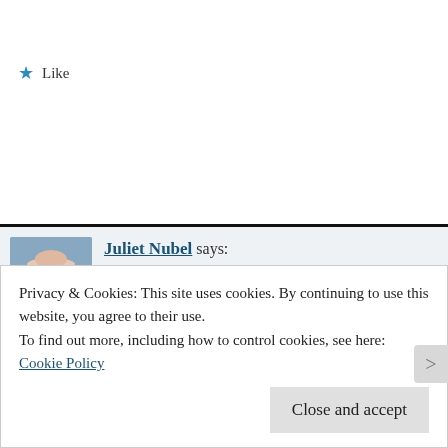★ Like
Reply
Juliet Nubel says:
3 October 2017 at 9 h 57 min
Thank you Adele Marie. Too kind. Ha
★ Liked by 1 person
Reply
Privacy & Cookies: This site uses cookies. By continuing to use this website, you agree to their use.
To find out more, including how to control cookies, see here: Cookie Policy
Close and accept